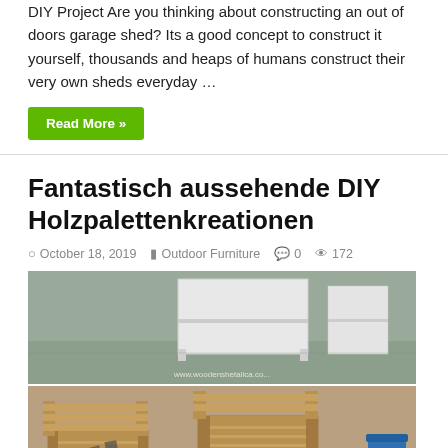DIY Project Are you thinking about constructing an out of doors garage shed? Its a good concept to construct it yourself, thousands and heaps of humans construct their very own sheds everyday …
Read More »
Fantastisch aussehende DIY Holzpalettenkreationen
October 18, 2019   Outdoor Furniture   0   172
[Figure (photo): Two-part photo collage: top image shows a white painted wooden shelving unit on a concrete floor in a garage setting; bottom image shows natural wood pallet furniture chairs/seating with a blue bucket and a wheelbarrow visible in the background.]